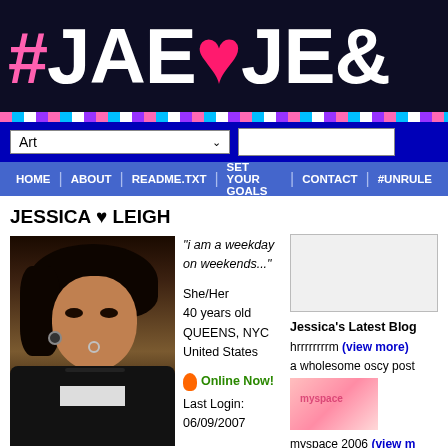[Figure (screenshot): MySpace-style social network profile page header with '#JAE♥JE&' text in large white letters on dark background with pink hashtag, pink heart, and horizontal stripe bar]
Art  ∨
HOME | ABOUT | README.TXT | SET YOUR GOALS | CONTACT | #UNRULE
JESSICA ♥ LEIGH
[Figure (photo): Profile photo of young woman with dark hair, gauge earrings, nose ring, wearing black jacket]
"i am a weekday on weekends..."
She/Her
40 years old
QUEENS, NYC
United States
Online Now!
Last Login:
06/09/2007
Jessica's Latest Blog
hrrrrrrrrm (view more)
a wholesome oscy post
myspace 2006 (view m
all my plays have tragic
so you give up every ch